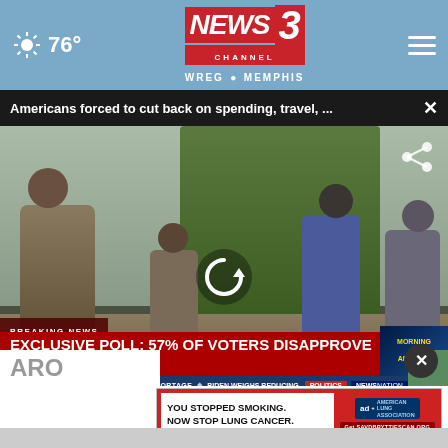76° NEWS 3 CHANNEL WREG MEMPHIS
Americans forced to cut back on spending, travel, ...
[Figure (screenshot): News broadcast screenshot showing people walking outdoors with a breaking news chyron: 'EXCLUSIVE POLL: 57% OF VOTERS DISAPPROVE OF BIDEN' and a Morning America logo. Ticker below reads: 'LEGISLATION ADDRESSING FORMULA SHORTAGE ... BIDEN WEIGHS REDUCING ... POLITICS NEWSNATION']
ARO
[Figure (other): Advertisement banner: YOU STOPPED SMOKING. NOW STOP LUNG CANCER. American Lung Association ad with Get SAVDBRYTTIESCAN.ORG CTA]